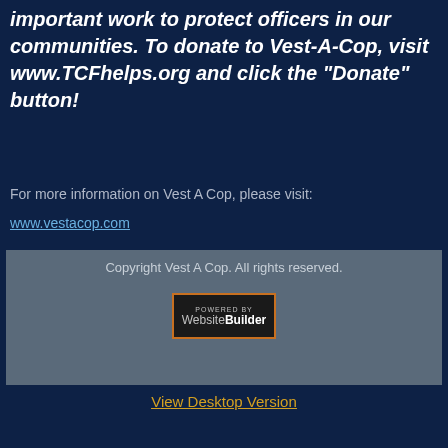important work to protect officers in our communities. To donate to Vest-A-Cop, visit www.TCFhelps.org and click the "Donate" button!
For more information on Vest A Cop, please visit:
www.vestacop.com
Copyright Vest A Cop. All rights reserved.
[Figure (logo): Powered by WebsiteBuilder badge logo]
View Desktop Version